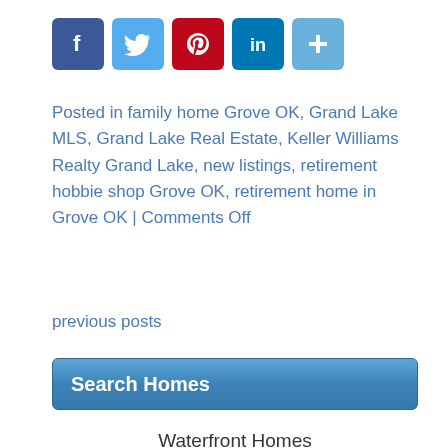[Figure (other): Social media sharing icons: Facebook (blue), Twitter (light blue), Pinterest (red), LinkedIn (teal), Share/Plus (blue)]
Posted in family home Grove OK, Grand Lake MLS, Grand Lake Real Estate, Keller Williams Realty Grand Lake, new listings, retirement hobbie shop Grove OK, retirement home in Grove OK | Comments Off
previous posts
Search Homes
Waterfront Homes
Waterfront Lots
Residential Lots
Gated Communities
Golf Communities